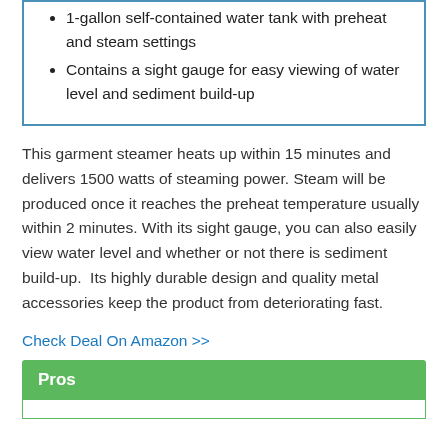1-gallon self-contained water tank with preheat and steam settings
Contains a sight gauge for easy viewing of water level and sediment build-up
This garment steamer heats up within 15 minutes and delivers 1500 watts of steaming power. Steam will be produced once it reaches the preheat temperature usually within 2 minutes. With its sight gauge, you can also easily view water level and whether or not there is sediment build-up.  Its highly durable design and quality metal accessories keep the product from deteriorating fast.
Check Deal On Amazon >>
Pros